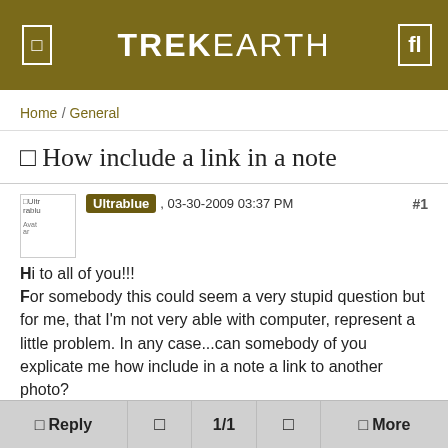TREKEARTH
Home / General
❏ How include a link in a note
Ultrablue , 03-30-2009 03:37 PM  #1
Hi to all of you!!!
For somebody this could seem a very stupid question but for me, that I'm not very able with computer, represent a little problem. In any case...can somebody of you explicate me how include in a note a link to another photo?
❏ Reply   ❏   1/1   ❏   ❏ More